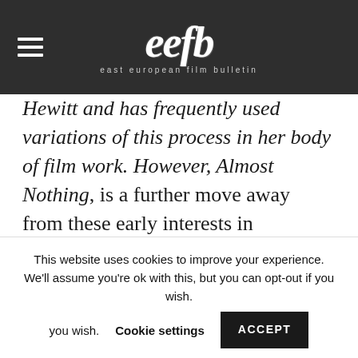eefb — east european film bulletin
Hewitt and has frequently used variations of this process in her body of film work. However, Almost Nothing, is a further move away from these early interests in animation, coming after the predominately filmic and photographic concerns of her 2013 work Postcards. Péter Lichter, born in 1984, is a student of film history and
This website uses cookies to improve your experience. We'll assume you're ok with this, but you can opt-out if you wish.
Cookie settings   ACCEPT